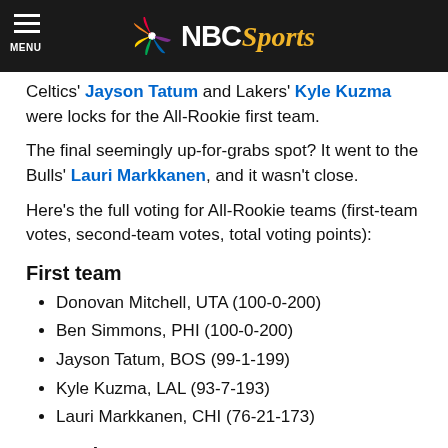NBC Sports
Celtics' Jayson Tatum and Lakers' Kyle Kuzma were locks for the All-Rookie first team.
The final seemingly up-for-grabs spot? It went to the Bulls' Lauri Markkanen, and it wasn't close.
Here's the full voting for All-Rookie teams (first-team votes, second-team votes, total voting points):
First team
Donovan Mitchell, UTA (100-0-200)
Ben Simmons, PHI (100-0-200)
Jayson Tatum, BOS (99-1-199)
Kyle Kuzma, LAL (93-7-193)
Lauri Markkanen, CHI (76-21-173)
Second team